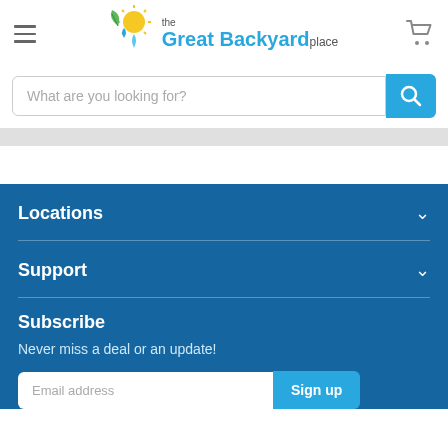[Figure (logo): The Great Backyard Place logo with sun, leaf, and water drops icon]
What are you looking for?
Locations
Support
Subscribe
Never miss a deal or an update!
Email address
Sign up